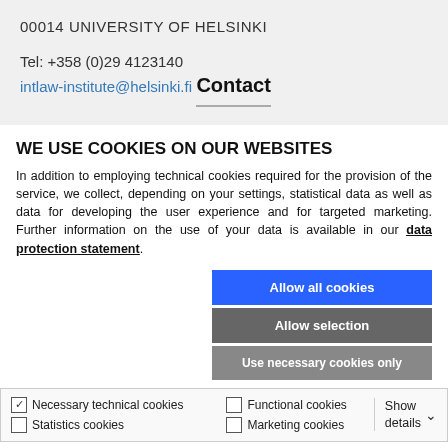00014 UNIVERSITY OF HELSINKI
Tel: +358 (0)29 4123140
intlaw-institute@helsinki.fi
Contact
WE USE COOKIES ON OUR WEBSITES
In addition to employing technical cookies required for the provision of the service, we collect, depending on your settings, statistical data as well as data for developing the user experience and for targeted marketing. Further information on the use of your data is available in our data protection statement.
Allow all cookies
Allow selection
Use necessary cookies only
Necessary technical cookies  Functional cookies  Statistics cookies  Marketing cookies  Show details